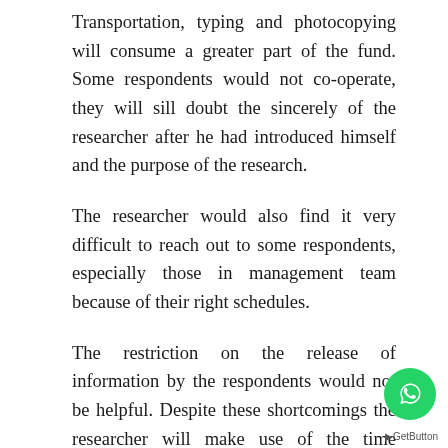Transportation, typing and photocopying will consume a greater part of the fund. Some respondents would not co-operate, they will sill doubt the sincerely of the researcher after he had introduced himself and the purpose of the research.
The researcher would also find it very difficult to reach out to some respondents, especially those in management team because of their right schedules.
The restriction on the release of information by the respondents would not be helpful. Despite these shortcomings the researcher will make use of the time available in most suitable and practical ways.
GetButton